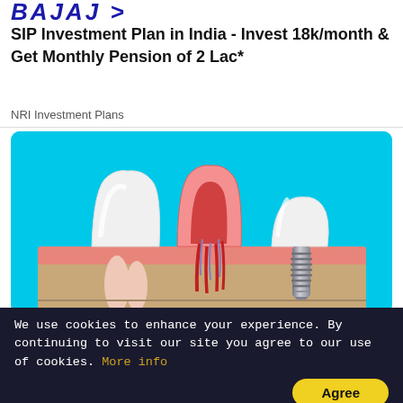[Figure (logo): Bajaj Allianz or similar brand logo in bold italic blue text at top of page]
SIP Investment Plan in India - Invest 18k/month & Get Monthly Pension of 2 Lac*
NRI Investment Plans
[Figure (illustration): Medical illustration showing cross-section of three teeth: a healthy tooth on the left, a tooth with root canal showing red nerve/blood vessel anatomy in the middle, and a dental implant screw on the right, all set in pink gum tissue and tan bone on a cyan/light blue background.]
The Cost of Dental Implant in United States Might Surprise You
[Figure (photo): Small Acura of Westchester advertisement banner thumbnail]
Acura of Westchester
We use cookies to enhance your experience. By continuing to visit our site you agree to our use of cookies. More info